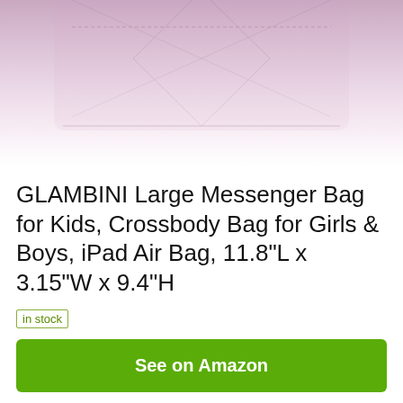[Figure (photo): Partial view of a pink/lavender GLAMBINI messenger bag, showing the bottom portion of the bag with stitching details, fading into white at the bottom.]
GLAMBINI Large Messenger Bag for Kids, Crossbody Bag for Girls & Boys, iPad Air Bag, 11.8"L x 3.15"W x 9.4"H
in stock
See on Amazon
Amazon.com
as of September 6, 2021 8:02 am ⓘ
Features